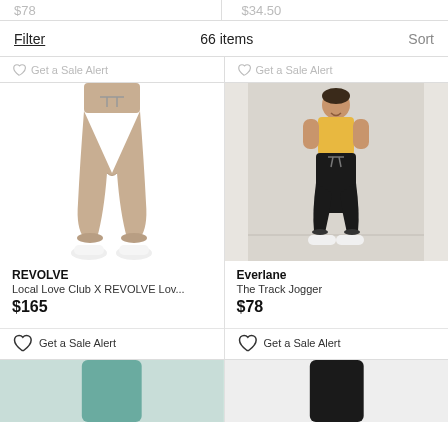$78   66 items   $34.50
Filter   66 items   Sort
♡ Get a Sale Alert   ♡ Get a Sale Alert
[Figure (photo): Woman wearing beige/tan drawstring jogger pants with white sneakers, cropped at waist, white background]
REVOLVE
Local Love Club X REVOLVE Lov...
$165
♡ Get a Sale Alert
[Figure (photo): Woman wearing yellow top and black drawstring track jogger pants with white sneakers, standing against light gray background]
Everlane
The Track Jogger
$78
♡ Get a Sale Alert
[Figure (photo): Partial view of product in blue/teal color at bottom left]
[Figure (photo): Partial view of product in black color at bottom right]